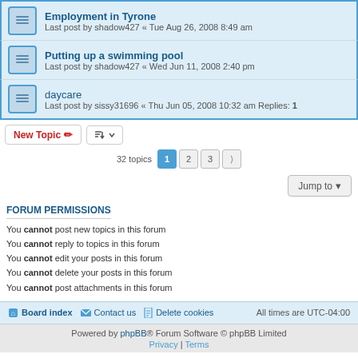Employment in Tyrone
Last post by shadow427 « Tue Aug 26, 2008 8:49 am
Putting up a swimming pool
Last post by shadow427 « Wed Jun 11, 2008 2:40 pm
daycare
Last post by sissy31696 « Thu Jun 05, 2008 10:32 am
Replies: 1
32 topics  1  2  3  >
Jump to
FORUM PERMISSIONS
You cannot post new topics in this forum
You cannot reply to topics in this forum
You cannot edit your posts in this forum
You cannot delete your posts in this forum
You cannot post attachments in this forum
Board index   Contact us   Delete cookies   All times are UTC-04:00
Powered by phpBB® Forum Software © phpBB Limited
Privacy | Terms